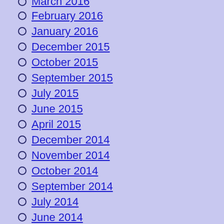March 2016
February 2016
January 2016
December 2015
October 2015
September 2015
July 2015
June 2015
April 2015
December 2014
November 2014
October 2014
September 2014
July 2014
June 2014
May 2014
April 2014